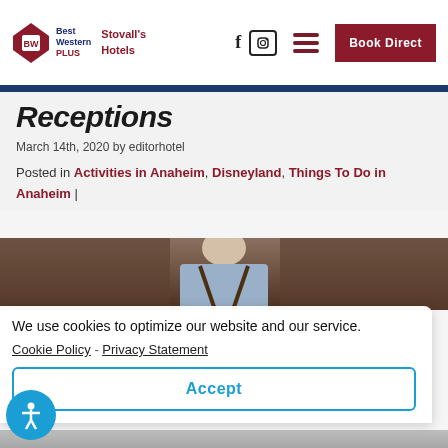Best Western PLUS Stovall's Hotels | Book Direct
Receptions
March 14th, 2020 by editorhotel
Posted in Activities in Anaheim, Disneyland, Things To Do in Anaheim |
[Figure (photo): Photo of a bartender or hotel staff member in a blue shirt with leather suspenders]
We use cookies to optimize our website and our service. Cookie Policy - Privacy Statement
Accept